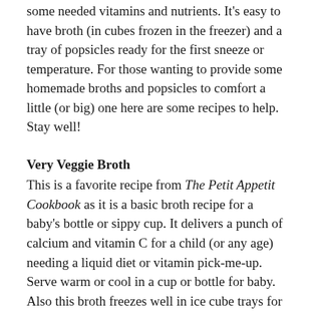some needed vitamins and nutrients. It's easy to have broth (in cubes frozen in the freezer) and a tray of popsicles ready for the first sneeze or temperature. For those wanting to provide some homemade broths and popsicles to comfort a little (or big) one here are some recipes to help. Stay well!
Very Veggie Broth
This is a favorite recipe from The Petit Appetit Cookbook as it is a basic broth recipe for a baby's bottle or sippy cup. It delivers a punch of calcium and vitamin C for a child (or any age) needing a liquid diet or vitamin pick-me-up. Serve warm or cool in a cup or bottle for baby. Also this broth freezes well in ice cube trays for later use.
Makes about 3 cups; 6 servings
1 quart cold water